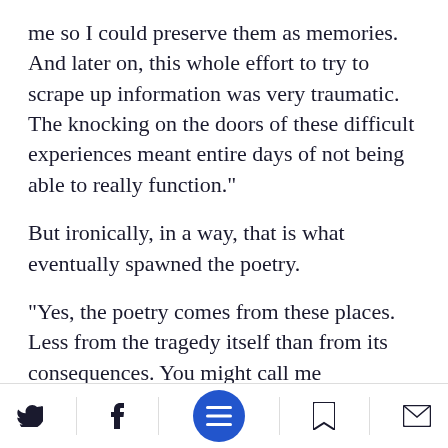me so I could preserve them as memories. And later on, this whole effort to try to scrape up information was very traumatic. The knocking on the doors of these difficult experiences meant entire days of not being able to really function."
But ironically, in a way, that is what eventually spawned the poetry.
"Yes, the poetry comes from these places. Less from the tragedy itself than from its consequences. You might call me schizophrenic, but to can really see Motti